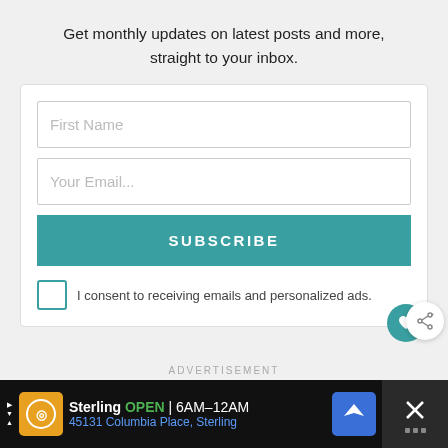Get monthly updates on latest posts and more, straight to your inbox.
[Figure (screenshot): Email subscription form with First Name input, Your Email input, SUBSCRIBE button, and consent checkbox]
I consent to receiving emails and personalized ads.
ADVERTISEMENT
[Figure (screenshot): Advertisement banner showing Black Families M... with photo of smiling family]
[Figure (screenshot): WHAT'S NEXT -> Secrets of Affordable... with thumbnail image]
[Figure (screenshot): Bottom ad: Sterling OPEN 6AM-12AM 45131 Columbia Place, Sterling with logo and navigation icon]